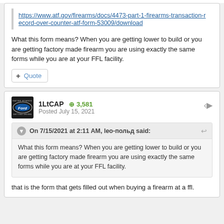https://www.atf.gov/firearms/docs/4473-part-1-firearms-transaction-record-over-counter-atf-form-53009/download
What this form means? When you are getting lower to build or you are getting factory made firearm you are using exactly the same forms while you are at your FFL facility.
1LtCAP  ⊕ 3,581
Posted July 15, 2021
On 7/15/2021 at 2:11 AM, leo-польд said:
What this form means? When you are getting lower to build or you are getting factory made firearm you are using exactly the same forms while you are at your FFL facility.
that is the form that gets filled out when buying a firearm at a ffl.